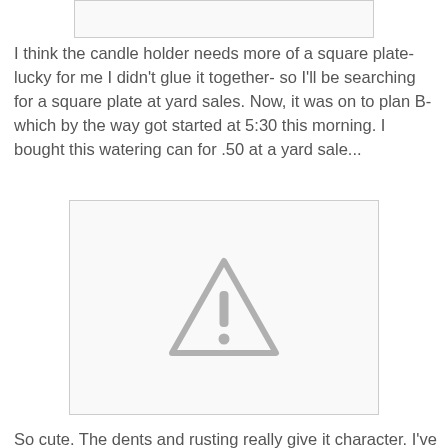[Figure (photo): Partial view of image at top of page (cropped, mostly off-screen)]
I think the candle holder needs more of a square plate- lucky for me I didn't glue it together- so I'll be searching for a square plate at yard sales. Now, it was on to plan B- which by the way got started at 5:30 this morning. I bought this watering can for .50 at a yard sale...
[Figure (photo): Image of a watering can purchased at a yard sale for .50 — shown as broken/unavailable image placeholder]
So cute. The dents and rusting really give it character. I've been wanting to do a little monogram and use this as a prop for my front door make-over. A little spray paint and vinyl and here she is...